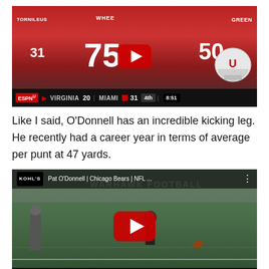[Figure (screenshot): YouTube video thumbnail of a college football game showing players in red jerseys with numbers 31, 75, and 50. ESPN scorebar shows Virginia 20, Miami 31, 4th quarter 8:51. Red YouTube play button overlay in center.]
Like I said, O'Donnell has an incredible kicking leg. He recently had a career year in terms of average per punt at 47 yards.
[Figure (screenshot): YouTube video thumbnail showing Pat O'Donnell of the Chicago Bears punting a football on a green field. Kohl's logo visible in top bar along with title 'Pat O'Donnell | Chicago Bears | NFL ...'. Red YouTube play button overlay in center. 'PAT O'DONNELL' text in white at bottom.]